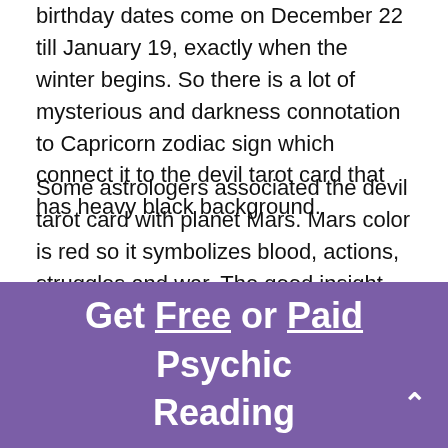birthday dates come on December 22 till January 19, exactly when the winter begins. So there is a lot of mysterious and darkness connotation to Capricorn zodiac sign which connect it to the devil tarot card that has heavy black background.
Some astrologers associated the devil tarot card with planet Mars. Mars color is red so it symbolizes blood, actions, struggles and war. The good insight we can get from this information is that Capricorns usually work very hard. They are willing to sacrifice a lot in order to accomplish their objective.
Get Free or Paid Psychic Reading